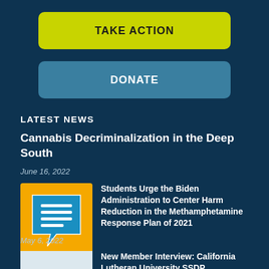TAKE ACTION
DONATE
LATEST NEWS
Cannabis Decriminalization in the Deep South
June 16, 2022
[Figure (illustration): Orange speech bubble document thumbnail for Students Urge the Biden Administration to Center Harm Reduction]
Students Urge the Biden Administration to Center Harm Reduction in the Methamphetamine Response Plan of 2021
May 6, 2022
[Figure (photo): White/light thumbnail image for New Member Interview: California Lutheran University SSDP]
New Member Interview: California Lutheran University SSDP